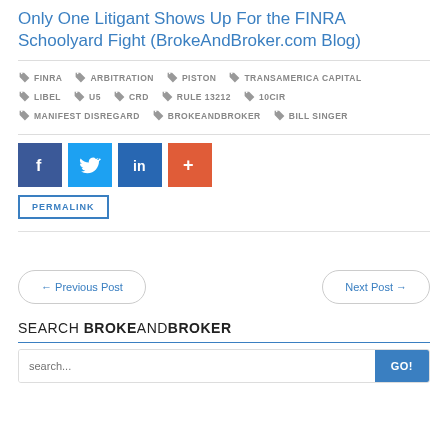Only One Litigant Shows Up For the FINRA Schoolyard Fight (BrokeAndBroker.com Blog)
FINRA  ARBITRATION  PISTON  TRANSAMERICA CAPITAL  LIBEL  U5  CRD  RULE 13212  10CIR  MANIFEST DISREGARD  BROKEANDBROKER  BILL SINGER
[Figure (infographic): Social share buttons: Facebook (dark blue), Twitter (light blue), LinkedIn (blue), plus/more (orange-red)]
PERMALINK
← Previous Post   Next Post →
SEARCH BROKEANDBROKER
search...  GO!